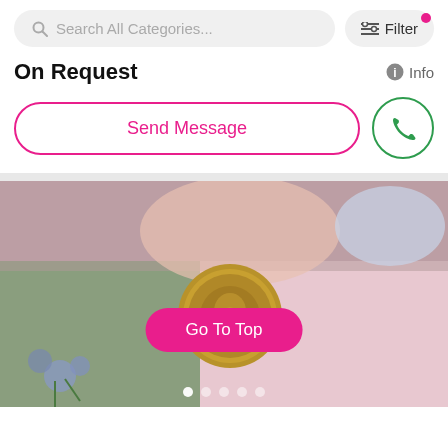Search All Categories...
Filter
On Request
Info
Send Message
[Figure (photo): A close-up photo of hands holding stationery with a gold wax seal featuring a rose design, with blue floral decorations on white paper in the background. A pink 'Go To Top' button overlay is visible in the center of the image. Navigation dots are visible at the bottom.]
Go To Top